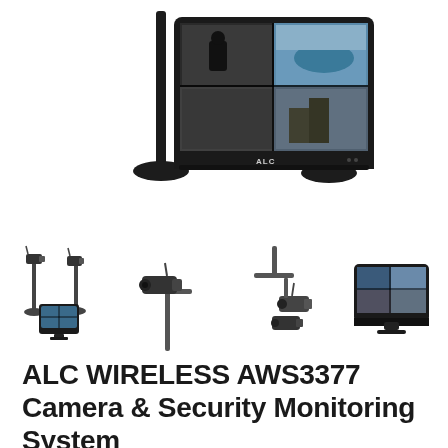[Figure (photo): ALC wireless security camera system with a large monitor displaying 4-camera split view, mounted on two tall stands, shown against white background]
[Figure (photo): Row of four thumbnail product images: (1) two cameras with small monitor on stands, (2) single bullet camera on pole mount, (3) ceiling-mount bracket with two cameras, (4) standalone monitor showing split camera view]
ALC WIRELESS AWS3377 Camera & Security Monitoring System